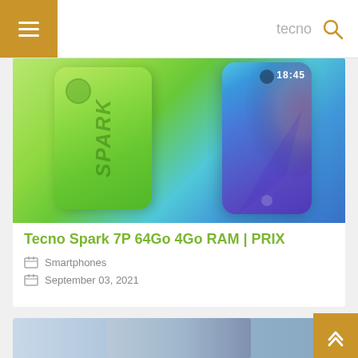tecno (search bar with menu and search icon)
[Figure (photo): Tecno Spark 7P smartphone shown from back (lime green) and front (blue gradient screen showing 18:45 time), side by side]
Tecno Spark 7P 64Go 4Go RAM | PRIX
Smartphones
September 03, 2021
[Figure (photo): Partial view of another smartphone listing card at the bottom of the page]